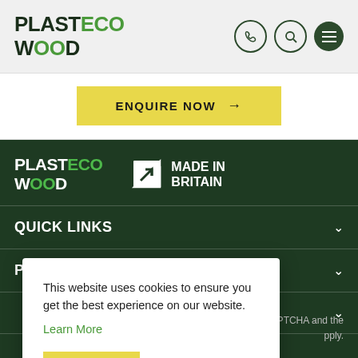[Figure (logo): PlastEcoWood logo in header — PLAST in dark green, ECO in bright green, WOOD with OO in green]
[Figure (logo): Phone icon circle, Search icon circle, Hamburger menu filled circle]
ENQUIRE NOW →
[Figure (logo): PlastEcoWood footer logo white with green ECO/OO]
[Figure (logo): Made In Britain logo — arrow icon and text]
QUICK LINKS
PRODUCTS
This website uses cookies to ensure you get the best experience on our website.
Learn More
GOT IT
d by reCAPTCHA and the pply.